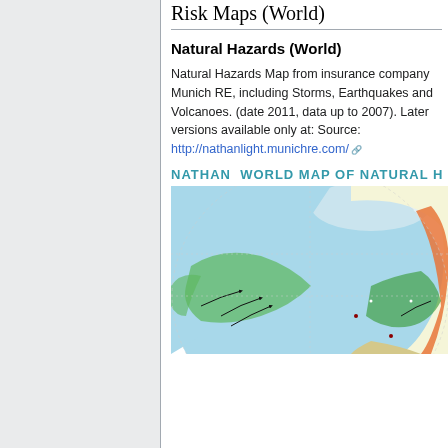Risk Maps (World)
Natural Hazards (World)
Natural Hazards Map from insurance company Munich RE, including Storms, Earthquakes and Volcanoes. (date 2011, data up to 2007). Later versions available only at: Source: http://nathanlight.munichre.com/
[Figure (map): NATHAN World Map of Natural Hazards globe showing storm tracks, earthquake zones, and volcanic regions with color coding across North and South America regions. Green areas show storm tracks, orange/red areas show seismic and volcanic zones.]